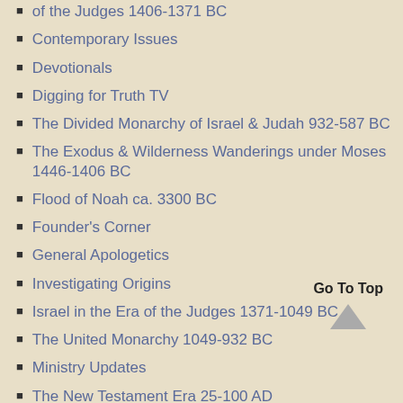of the Judges 1406-1371 BC
Contemporary Issues
Devotionals
Digging for Truth TV
The Divided Monarchy of Israel & Judah 932-587 BC
The Exodus & Wilderness Wanderings under Moses 1446-1406 BC
Flood of Noah ca. 3300 BC
Founder's Corner
General Apologetics
Investigating Origins
Israel in the Era of the Judges 1371-1049 BC
The United Monarchy 1049-932 BC
Ministry Updates
The New Testament Era 25-100 AD
Patriarchal Era 2166-1876 BC
Videos/Audio
Go To Top